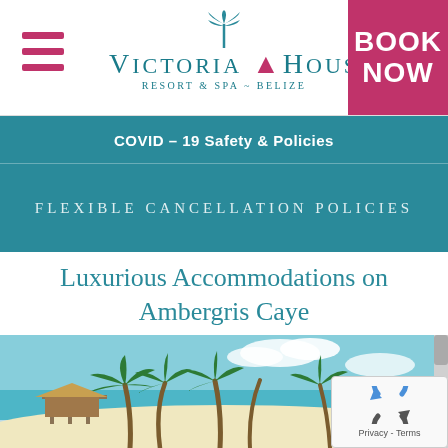[Figure (logo): Victoria House Resort & Spa - Belize logo with palm tree icon]
BOOK NOW
COVID – 19 Safety & Policies
FLEXIBLE CANCELLATION POLICIES
Luxurious Accommodations on Ambergris Caye
[Figure (photo): Beach scene at Ambergris Caye with palm trees, white sand, teal beach chairs, a thatched pier/gazebo, and turquoise water]